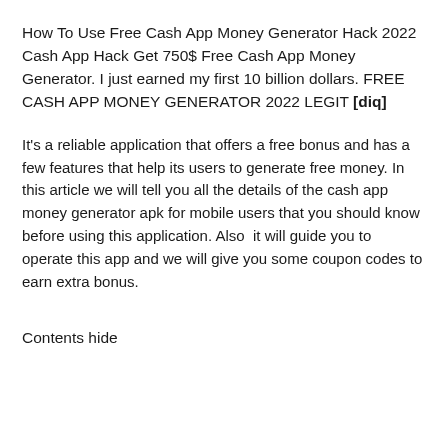How To Use Free Cash App Money Generator Hack 2022 Cash App Hack Get 750$ Free Cash App Money Generator. I just earned my first 10 billion dollars. FREE CASH APP MONEY GENERATOR 2022 LEGIT [diq]
It's a reliable application that offers a free bonus and has a few features that help its users to generate free money. In this article we will tell you all the details of the cash app money generator apk for mobile users that you should know before using this application. Also  it will guide you to operate this app and we will give you some coupon codes to earn extra bonus.
Contents hide